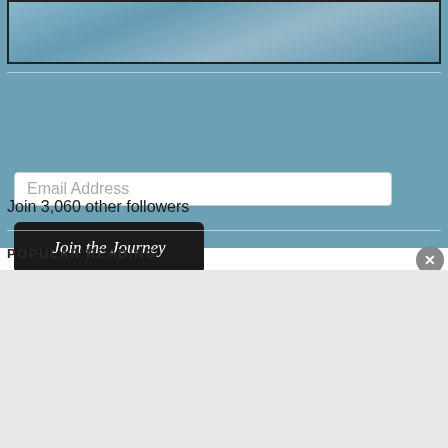[Figure (photo): Partial view of a landscape photo at the top of the page, appears to be a sky/cloud scene]
[Figure (other): Email subscription form with an Email Address input field, a Join the Journey button, and follower count text]
Join 3,060 other followers
POPULAR READING
Advertisements
[Figure (screenshot): DuckDuckGo advertisement banner with orange background. Text reads: Search, browse, and email with more privacy. All in One Free App. Shows a smartphone with DuckDuckGo logo.]